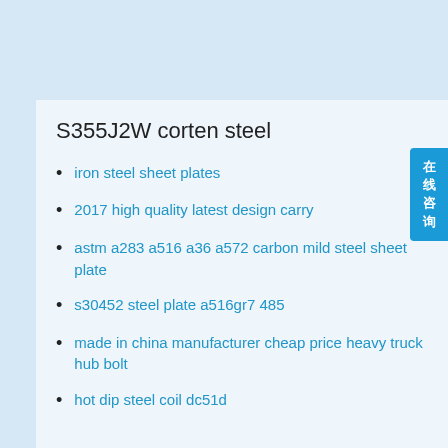S355J2W corten steel
iron steel sheet plates
2017 high quality latest design carry
astm a283 a516 a36 a572 carbon mild steel sheet plate
s30452 steel plate a516gr7 485
made in china manufacturer cheap price heavy truck hub bolt
hot dip steel coil dc51d